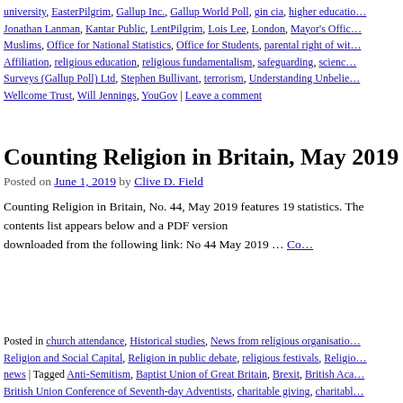university, EasterPilgrim, Gallup Inc., Gallup World Poll, gin cia, higher education, Jonathan Lanman, Kantar Public, LentPilgrim, Lois Lee, London, Mayor's Office, Muslims, Office for National Statistics, Office for Students, parental right of withdrawal, Religious Affiliation, religious education, religious fundamentalism, safeguarding, science, Social Surveys (Gallup Poll) Ltd, Stephen Bullivant, terrorism, Understanding Unbelief, Wellcome Trust, Will Jennings, YouGov | Leave a comment
Counting Religion in Britain, May 2019
Posted on June 1, 2019 by Clive D. Field
Counting Religion in Britain, No. 44, May 2019 features 19 statistics. The contents list appears below and a PDF version can be downloaded from the following link: No 44 May 2019 … Co…
Posted in church attendance, Historical studies, News from religious organisations, Religion and Social Capital, Religion in public debate, religious festivals, Religious news | Tagged Anti-Semitism, Baptist Union of Great Britain, Brexit, British Aca…, British Union Conference of Seventh-day Adventists, charitable giving, charitable… Foundation, child sexual abuse, church attendance, Church Commissioners for England, Co-operative Funeralcare, ComRes, disaffiliation, Dying Matters, Edgw… Union, favourability, funerals, Hospice UK, hymns, Independent Inquiry into Ch…, Jeremy Law, Jewish Chronicle, Jews, Kristin Aune, Labour Party, Leeds, Londo…, Methodist Church of Great Britain, Oxford University Press, politics, Quakers…